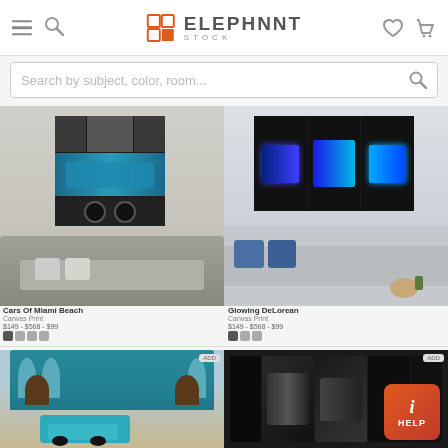ElephantStock - header with hamburger menu, search icon, logo, heart icon, cart icon
Search by subject, color, room...
[Figure (photo): Canvas wall art product: black and white / blue classic vintage car (Cars Of Miami Beach), displayed on wall above gray sofa in living room. Multi-panel canvas.]
Cars Of Miami Beach
[Figure (photo): Canvas wall art product: neon-lit DeLorean car (Glowing DeLorean) on dark background, displayed on wall above gray sectional sofa. Multi-panel canvas.]
Glowing DeLorean
[Figure (photo): Canvas wall art product: colorful building facade with arch doorways and a teal vintage car parked in front. Multi-panel canvas.]
[Figure (photo): Canvas wall art product: black sports car (possibly Lamborghini) close-up on dark background. Multi-panel canvas.]